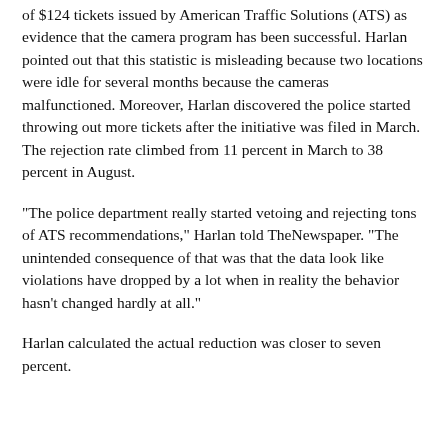of $124 tickets issued by American Traffic Solutions (ATS) as evidence that the camera program has been successful. Harlan pointed out that this statistic is misleading because two locations were idle for several months because the cameras malfunctioned. Moreover, Harlan discovered the police started throwing out more tickets after the initiative was filed in March. The rejection rate climbed from 11 percent in March to 38 percent in August.
"The police department really started vetoing and rejecting tons of ATS recommendations," Harlan told TheNewspaper. "The unintended consequence of that was that the data look like violations have dropped by a lot when in reality the behavior hasn't changed hardly at all."
Harlan calculated the actual reduction was closer to seven percent.